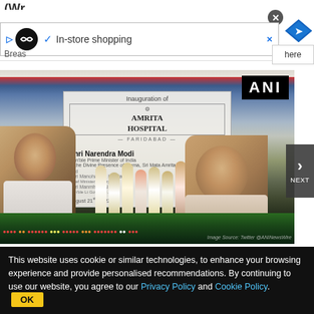(Wr...
[Figure (screenshot): Ad banner showing In-store shopping with logo and navigation icon, with partial text 'Breas' visible on left and 'here' button on right]
[Figure (photo): Photo of the inauguration of Amrita Hospital Faridabad by Prime Minister Narendra Modi, showing PM Modi, Amma, and dignitaries on stage with flowers and inauguration backdrop. ANI watermark visible.]
PM Modi inaugurates Asia's Biggest Private Multi-Speciality Hospital in...
PM Modi Inaugrates Asia's Biggest Private Hospital:
This website uses cookie or similar technologies, to enhance your browsing experience and provide personalised recommendations. By continuing to use our website, you agree to our Privacy Policy and Cookie Policy.